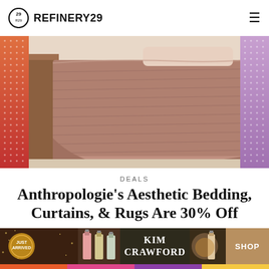REFINERY29
[Figure (photo): Pink-brown quilted bedding/coverlet draped over a bed with a wooden nightstand, flanked by decorative orange and purple dot-pattern side panels]
DEALS
Anthropologie's Aesthetic Bedding, Curtains, & Rugs Are 30% Off
CHICHI OFFOR, MERCEDES VIERA
AUGUST 26, 2022 6:33 PM
[Figure (photo): Kim Crawford wine advertisement banner showing bottles and a Shop button]